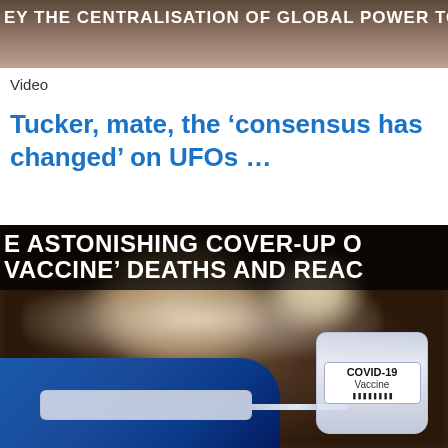[Figure (photo): Top banner image showing partial text 'EY THE CENTRALISATION OF GLOBAL POWER TO MEET T' in white bold uppercase letters on a brownish/blurred background photo]
Video
Tucker, mate, the ‘consensus has changed’ on UFOs …
[Figure (photo): Image with bold white text overlay reading 'E ASTONISHING COVER-UP O' and 'VACCINE' DEATHS AND REAC' on dark background, with a photo of a masked healthcare worker holding a syringe and COVID-19 Vaccine vial in the foreground]